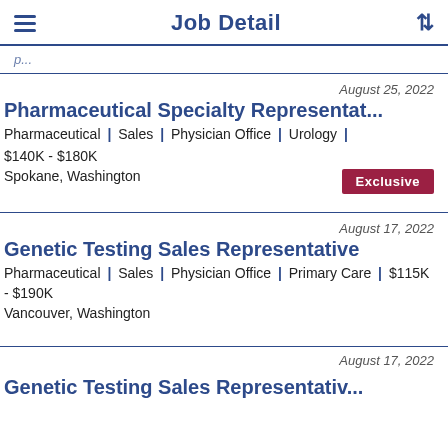Job Detail
August 25, 2022
Pharmaceutical Specialty Representat...
Pharmaceutical | Sales | Physician Office | Urology | $140K - $180K
Spokane, Washington
Exclusive
August 17, 2022
Genetic Testing Sales Representative
Pharmaceutical | Sales | Physician Office | Primary Care | $115K - $190K
Vancouver, Washington
August 17, 2022
Genetic Testing Sales Representative